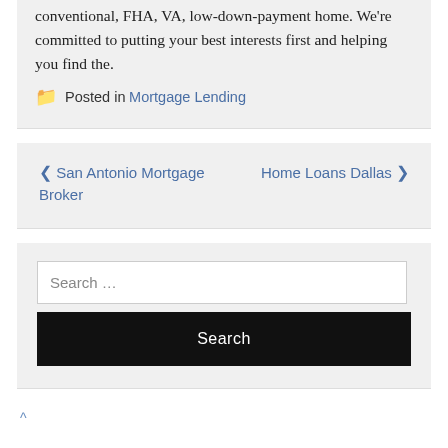conventional, FHA, VA, low-down-payment home. We're committed to putting your best interests first and helping you find the.
Posted in Mortgage Lending
< San Antonio Mortgage Broker   Home Loans Dallas >
Search …
Search
^